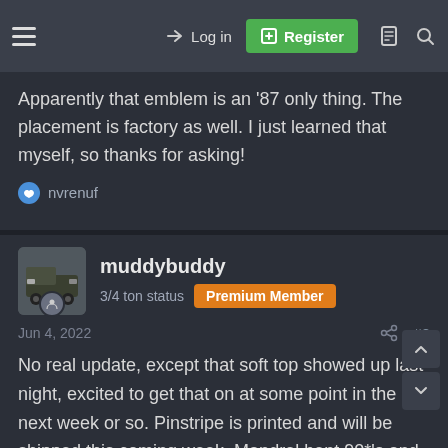Log in | Register
Apparently that emblem is an '87 only thing. The placement is factory as well. I just learned that myself, so thanks for asking!
nvrenuf
muddybuddy
3/4 ton status | Premium Member
Jun 4, 2022 #8
No real update, except that soft top showed up last night, excited to get that on at some point in the next week or so. Pinstripe is printed and will be shipped this coming week. Mandrel bent 90*'s and new tips showed up last night as well, hopefully get those on this weekend.